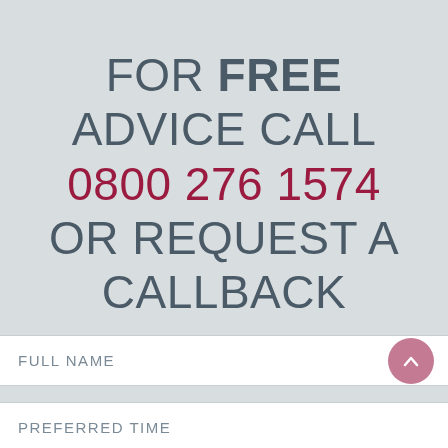FOR FREE ADVICE CALL 0800 276 1574 OR REQUEST A CALLBACK
FULL NAME
PREFERRED TIME